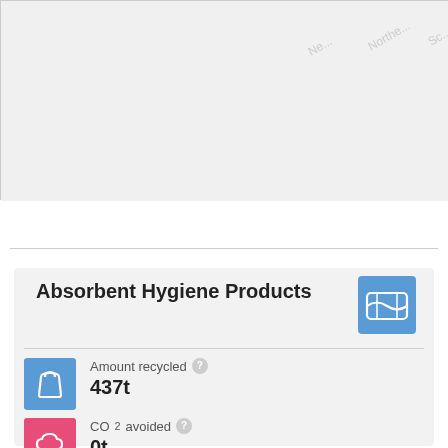[Figure (map): Partial map showing Northeast/Northern region labels in light gray]
Absorbent Hygiene Products
Amount recycled ?
437t
CO2 avoided ?
0t
Estimated disposal saving ?
£49,353
Reported as exported ?
0%